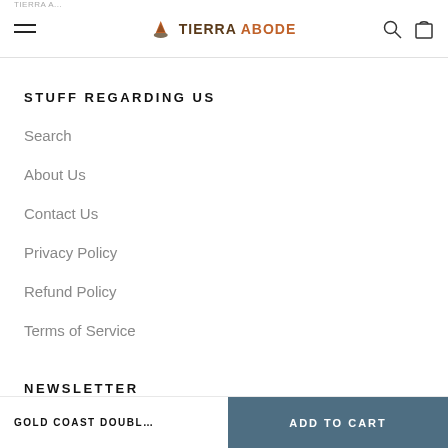TIERRA ABODE
STUFF REGARDING US
Search
About Us
Contact Us
Privacy Policy
Refund Policy
Terms of Service
NEWSLETTER
GOLD COAST DOUBL…  ADD TO CART